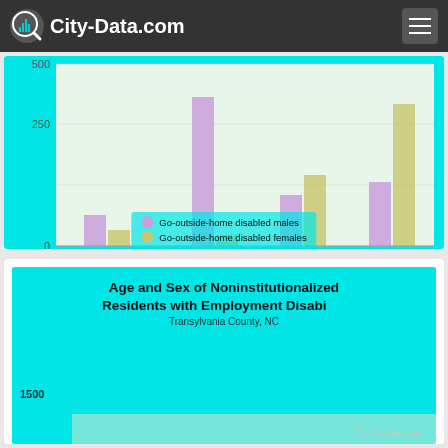City-Data.com
[Figure (grouped-bar-chart): Go-outside-home disabled by age group]
Go-outside-home disabled males / Go-outside-home disabled females
Age and Sex of Noninstitutionalized Residents with Employment Disability
Transylvania County, NC
1500